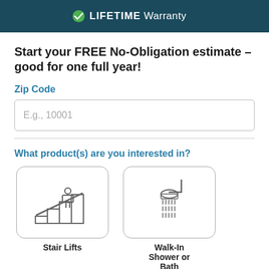LIFETIME Warranty
Start your FREE No-Obligation estimate – good for one full year!
Zip Code
E.g., 10001
What product(s) are you interested in?
[Figure (illustration): Stair lift icon inside rounded rectangle border]
Stair Lifts
[Figure (illustration): Walk-in shower or bath icon inside rounded rectangle border]
Walk-In Shower or Bath